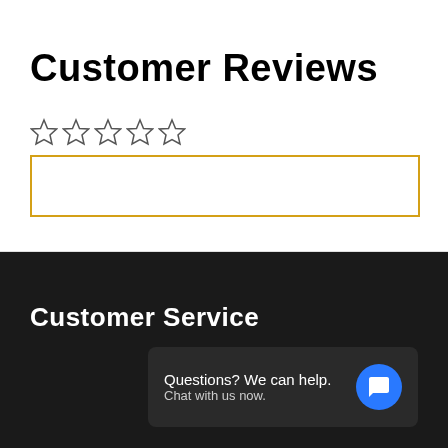Customer Reviews
[Figure (other): Five empty star rating icons in a row]
[Figure (other): Empty text input box with gold/amber border for writing a review]
Customer Service
[Figure (other): Chat widget with dark background showing 'Questions? We can help. Chat with us now.' and a blue circular chat icon]